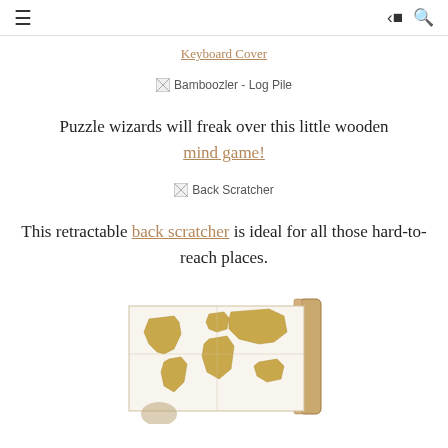≡   share search
Keyboard Cover
[Figure (other): Broken image placeholder labeled 'Bamboozler - Log Pile']
Puzzle wizards will freak over this little wooden mind game!
[Figure (other): Broken image placeholder labeled 'Back Scratcher']
This retractable back scratcher is ideal for all those hard-to-reach places.
[Figure (photo): Scratch-off world map poster shown partially unrolled with a wooden scroll rod, gold/beige coloring showing continents]